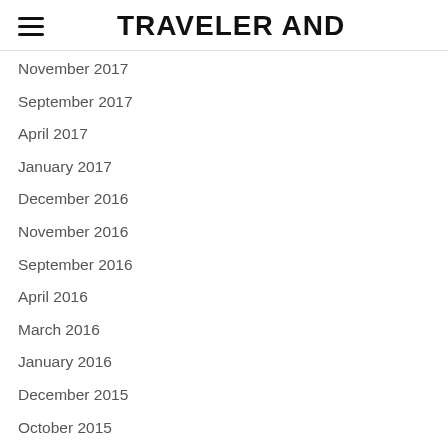TRAVELER AND
November 2017
September 2017
April 2017
January 2017
December 2016
November 2016
September 2016
April 2016
March 2016
January 2016
December 2015
October 2015
September 2015
August 2015
July 2015
[Figure (illustration): Support Us button with coffee cup and heart icon on purple rounded background]
October 2014